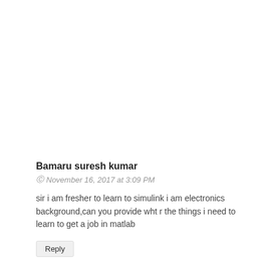Bamaru suresh kumar
© November 16, 2017 at 3:09 PM
sir i am fresher to learn to simulink i am electronics background,can you provide wht r the things i need to learn to get a job in matlab
Reply
info4eee